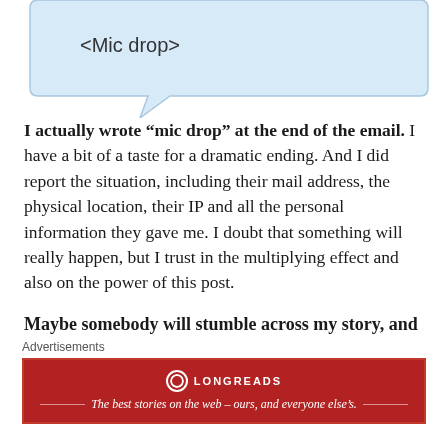[Figure (illustration): A light blue speech bubble pointing left-downward containing the text '<Mic drop>']
I actually wrote “mic drop” at the end of the email. I have a bit of a taste for a dramatic ending. And I did report the situation, including their mail address, the physical location, their IP and all the personal information they gave me. I doubt that something will really happen, but I trust in the multiplying effect and also on the power of this post.
Maybe somebody will stumble across my story, and think again before sending money.
Anyway, I have to say, these guys have some class. Look
Advertisements
[Figure (logo): Longreads advertisement banner in dark red/maroon color with the Longreads logo and tagline: The best stories on the web – ours, and everyone else's.]